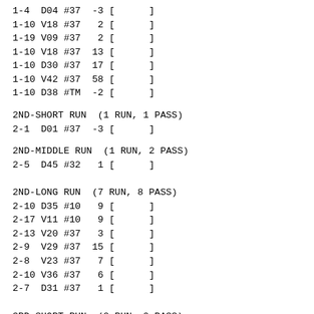1-4  D04 #37  -3 [      ]
1-10 V18 #37   2 [      ]
1-19 V09 #37   2 [      ]
1-10 V18 #37  13 [      ]
1-10 D30 #37  17 [      ]
1-10 V42 #37  58 [      ]
1-10 D38 #TM  -2 [      ]
2ND-SHORT RUN  (1 RUN, 1 PASS)
2-1  D01 #37  -3 [      ]
2ND-MIDDLE RUN  (1 RUN, 2 PASS)
2-5  D45 #32   1 [      ]
2ND-LONG RUN  (7 RUN, 8 PASS)
2-10 D35 #10   9 [      ]
2-17 V11 #10   9 [      ]
2-13 V20 #37   3 [      ]
2-9  V29 #37  15 [      ]
2-8  V23 #37   7 [      ]
2-10 V36 #37   6 [      ]
2-7  D31 #37   1 [      ]
3RD-SHORT RUN  (2 RUN, 0 PASS)
3-1  D26 #31   7 [      ]
3-1  V30 #37   0 [      ]
3RD-MIDDLE RUN  (2 RUN, 4 PASS)